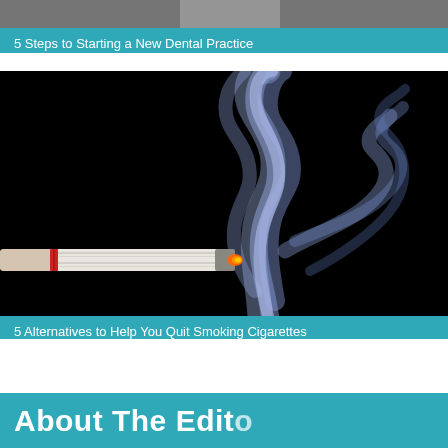[Figure (photo): Partial image of a dental practice scene at top of page]
5 Steps to Starting a New Dental Practice
[Figure (photo): Close-up photo of a lit cigarette against black background with blue smoke curling upward]
5 Alternatives to Help You Quit Smoking Cigarettes
[Figure (photo): Partial teal banner with beginning of 'About The Editor' text visible at bottom of page]